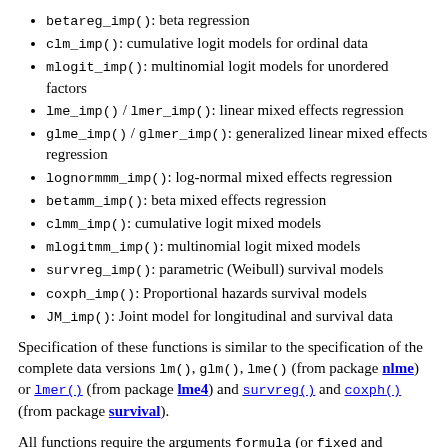betareg_imp(): beta regression
clm_imp(): cumulative logit models for ordinal data
mlogit_imp(): multinomial logit models for unordered factors
lme_imp() / lmer_imp(): linear mixed effects regression
glme_imp() / glmer_imp(): generalized linear mixed effects regression
lognormmm_imp(): log-normal mixed effects regression
betamm_imp(): beta mixed effects regression
clmm_imp(): cumulative logit mixed models
mlogitmm_imp(): multinomial logit mixed models
survreg_imp(): parametric (Weibull) survival models
coxph_imp(): Proportional hazards survival models
JM_imp(): Joint model for longitudinal and survival data
Specification of these functions is similar to the specification of the complete data versions lm(), glm(), lme() (from package nlme) or lmer() (from package lme4) and survreg() and coxph() (from package survival).
All functions require the arguments formula (or fixed and random in for mixed models) and data.
Specification of the (fixed effects) model formula is demonstrated in section Model formula, specification of the random random